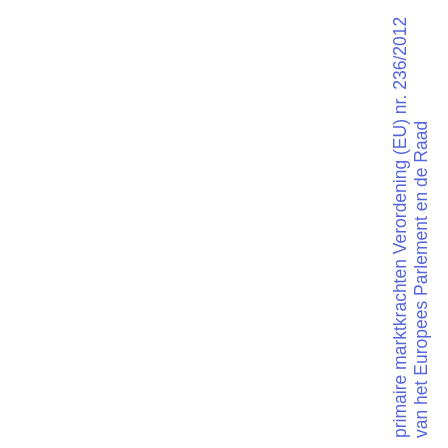primaire marktkrachten Verordening (EU) nr. 236/2012 van het Europees Parlement en de Raad